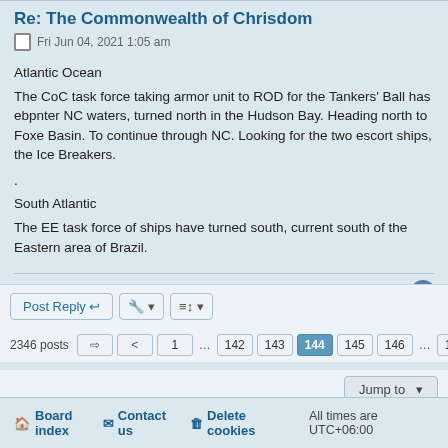Re: The Commonwealth of Chrisdom
Fri Jun 04, 2021 1:05 am
Atlantic Ocean
The CoC task force taking armor unit to ROD for the Tankers' Ball has ebpnter NC waters, turned north in the Hudson Bay. Heading north to Foxe Basin. To continue through NC. Looking for the two escort ships, the Ice Breakers.
.
South Atlantic
The EE task force of ships have turned south, current south of the Eastern area of Brazil.
Chris
Post Reply | [tools] | [sort]
2346 posts | < | 1 | ... | 142 | 143 | 144 | 145 | 146 | ... | 157 | >
Jump to
Board index | Contact us | Delete cookies | All times are UTC+06:00